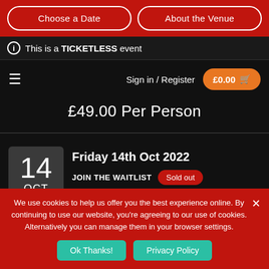Choose a Date | About the Venue
This is a TICKETLESS event
Sign in / Register  £0.00
£49.00 Per Person
Friday 14th Oct 2022
JOIN THE WAITLIST  Sold out
We use cookies to help us offer you the best experience online. By continuing to use our website, you're agreeing to our use of cookies. Alternatively you can manage them in your browser settings.
Ok Thanks!  Privacy Policy